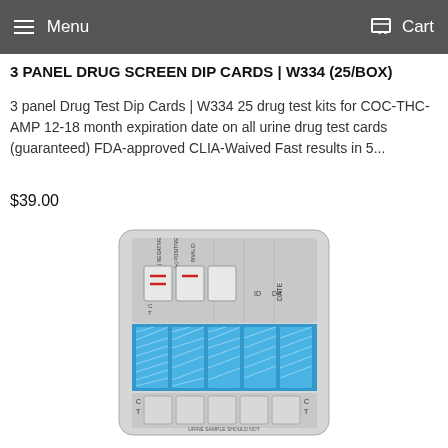Menu   Cart
3 PANEL DRUG SCREEN DIP CARDS | W334 (25/BOX)
3 panel Drug Test Dip Cards | W334 25 drug test kits for COC-THC-AMP 12-18 month expiration date on all urine drug test cards (guaranteed) FDA-approved CLIA-Waived Fast results in 5...
$39.00
[Figure (photo): Photo of a 3-panel drug screen dip card device showing test windows with C and T lines, positive/negative indicators, ID, DP, and DATE fields, blue absorbent pad section with 5 labeled panels, and text reading URINE SAMPLE SHOULD NOT at the bottom]